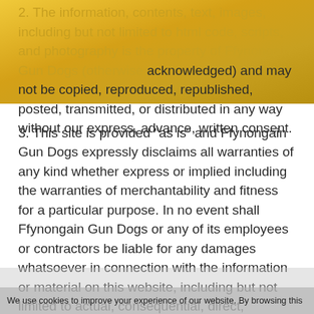2. The information, contents, text, images, including but not limited to html code, scripts, and photography is the property of Ffynongain Gun Dogs (otherwise acknowledged) and may not be copied, reproduced, republished, posted, transmitted, or distributed in any way without our express, advance, written consent.
3. This site is provided "as is" and Ffynongain Gun Dogs expressly disclaims all warranties of any kind whether express or implied including the warranties of merchantability and fitness for a particular purpose. In no event shall Ffynongain Gun Dogs or any of its employees or contractors be liable for any damages whatsoever in connection with the information or material on this website, including but not limited to actual, consequential, direct, exemplary, incidental, indirect, punitive or special damages.
We use cookies to improve your experience of our website. By browsing this